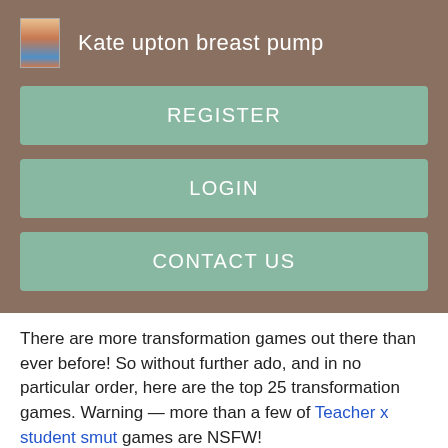Kate upton breast pump
REGISTER
LOGIN
CONTACT US
There are more transformation games out there than ever before! So without further ado, and in no particular order, here are the top 25 transformation games. Warning — more than a few of Teacher x student smut games are NSFW!
Online: Now